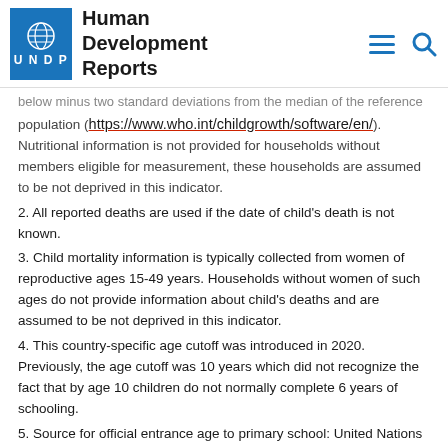Human Development Reports
below minus two standard deviations from the median of the reference population (https://www.who.int/childgrowth/software/en/). Nutritional information is not provided for households without members eligible for measurement, these households are assumed to be not deprived in this indicator.
2. All reported deaths are used if the date of child's death is not known.
3. Child mortality information is typically collected from women of reproductive ages 15-49 years. Households without women of such ages do not provide information about child's deaths and are assumed to be not deprived in this indicator.
4. This country-specific age cutoff was introduced in 2020. Previously, the age cutoff was 10 years which did not recognize the fact that by age 10 children do not normally complete 6 years of schooling.
5. Source for official entrance age to primary school: United Nations Educational, Scientific and Cultural Organization, Institute for Statistics database. Education systems [uis. http://data.uis.unesco.org/?